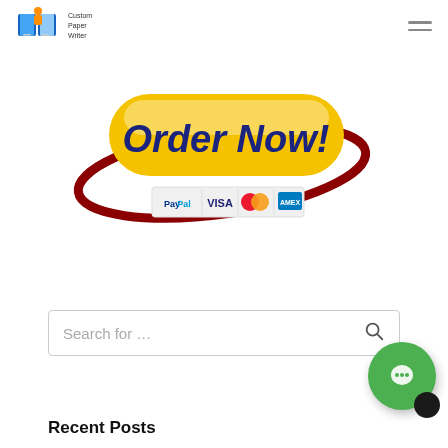Logo and navigation hamburger menu
[Figure (illustration): Yellow 'Order Now!' button with dark red oval swoosh around it, and payment icons (PayPal, Visa, Mastercard, Amex) below]
Search for …
Recent Posts